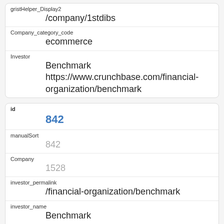| gristHelper_Display2 | /company/1stdibs |
| Company_category_code | ecommerce |
| Investor | Benchmark https://www.crunchbase.com/financial-organization/benchmark |
| id | 842 |
| manualSort | 842 |
| Company | 1528 |
| investor_permalink | /financial-organization/benchmark |
| investor_name | Benchmark |
| investor_category_code |  |